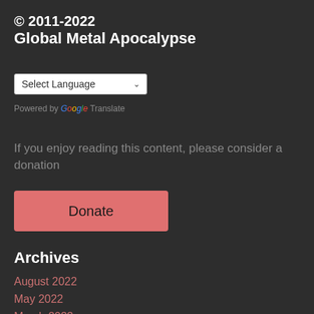© 2011-2022
Global Metal Apocalypse
[Figure (screenshot): Language selector dropdown showing 'Select Language' with a dropdown arrow, and 'Powered by Google Translate' text below]
If you enjoy reading this content, please consider a donation
Donate
Archives
August 2022
May 2022
March 2022
October 2021